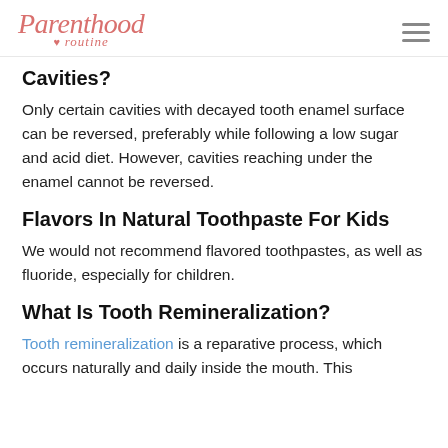Parenthood ♥ routine
Cavities?
Only certain cavities with decayed tooth enamel surface can be reversed, preferably while following a low sugar and acid diet. However, cavities reaching under the enamel cannot be reversed.
Flavors In Natural Toothpaste For Kids
We would not recommend flavored toothpastes, as well as fluoride, especially for children.
What Is Tooth Remineralization?
Tooth remineralization is a reparative process, which occurs naturally and daily inside the mouth. This